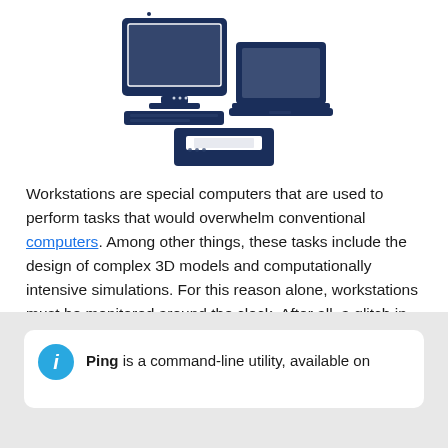[Figure (illustration): Dark navy blue icon illustration of two desktop computers (monitors with keyboards) and a printer arranged together, representing workstations.]
Workstations are special computers that are used to perform tasks that would overwhelm conventional computers. Among other things, these tasks include the design of complex 3D models and computationally intensive simulations. For this reason alone, workstations must be monitored around the clock. After all, a glitch in one of these high-performance machines can have a serious impact on a company's operations and productivity.
Ping is a command-line utility, available on